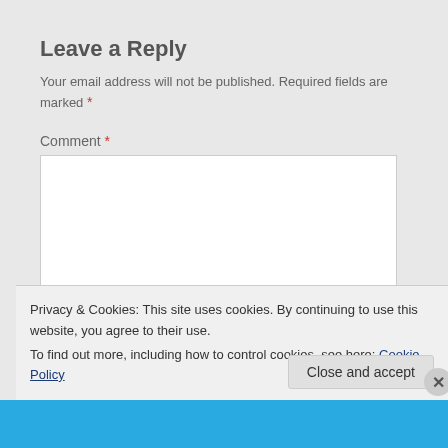Leave a Reply
Your email address will not be published. Required fields are marked *
Comment *
[Figure (screenshot): Empty comment text area input box with resize handle]
Privacy & Cookies: This site uses cookies. By continuing to use this website, you agree to their use.
To find out more, including how to control cookies, see here: Cookie Policy
Close and accept